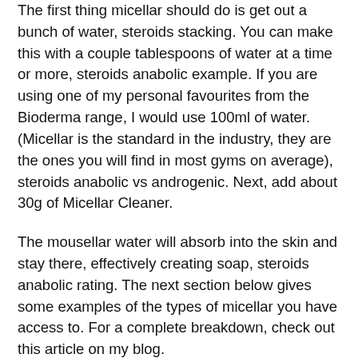The first thing micellar should do is get out a bunch of water, steroids stacking. You can make this with a couple tablespoons of water at a time or more, steroids anabolic example. If you are using one of my personal favourites from the Bioderma range, I would use 100ml of water. (Micellar is the standard in the industry, they are the ones you will find in most gyms on average), steroids anabolic vs androgenic. Next, add about 30g of Micellar Cleaner.
The mousellar water will absorb into the skin and stay there, effectively creating soap, steroids anabolic rating. The next section below gives some examples of the types of micellar you have access to. For a complete breakdown, check out this article on my blog.
If you are wondering why Mousellar is called "mouse" the reason being is because mice do not require the high temperature to keep